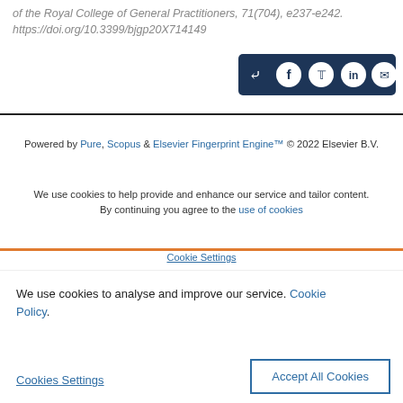of the Royal College of General Practitioners, 71(704), e237-e242. https://doi.org/10.3399/bjgp20X714149
[Figure (other): Social share button bar with icons for share, Facebook, Twitter, LinkedIn, and email on dark navy background]
Powered by Pure, Scopus & Elsevier Fingerprint Engine™ © 2022 Elsevier B.V.
We use cookies to help provide and enhance our service and tailor content. By continuing you agree to the use of cookies
We use cookies to analyse and improve our service. Cookie Policy
Cookies Settings
Accept All Cookies